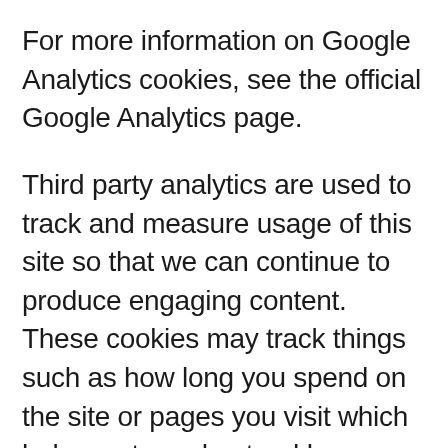For more information on Google Analytics cookies, see the official Google Analytics page.
Third party analytics are used to track and measure usage of this site so that we can continue to produce engaging content. These cookies may track things such as how long you spend on the site or pages you visit which helps us to understand how we can improve the site for you.